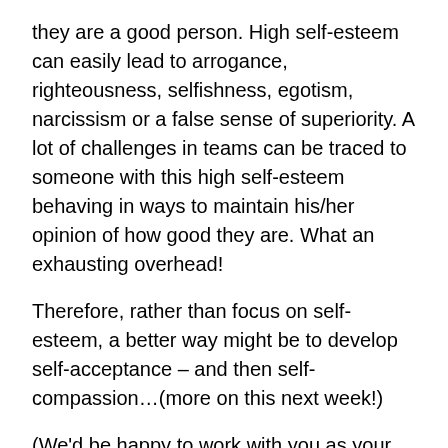they are a good person. High self-esteem can easily lead to arrogance, righteousness, selfishness, egotism, narcissism or a false sense of superiority. A lot of challenges in teams can be traced to someone with this high self-esteem behaving in ways to maintain his/her opinion of how good they are. What an exhausting overhead!
Therefore, rather than focus on self-esteem, a better way might be to develop self-acceptance – and then self-compassion…(more on this next week!)
(We'd be happy to work with you as your coach /coaching supervisor – for a couple of pro bono sessions – to help you move from the pressures of self-esteem to self-acceptance and to self-compassion! Connect with us on ajayglobalcoach@gmail.com.